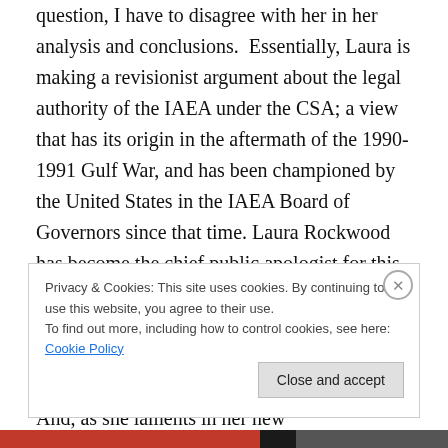question, I have to disagree with her in her analysis and conclusions.  Essentially, Laura is making a revisionist argument about the legal authority of the IAEA under the CSA; a view that has its origin in the aftermath of the 1990-1991 Gulf War, and has been championed by the United States in the IAEA Board of Governors since that time. Laura Rockwood has become the chief public apologist for this argument, which goes against the common understanding of the legal authority of the IAEA, held by IAEA officials and states for the first two decades of the CSA's existence.  And, as she laments in her new
Privacy & Cookies: This site uses cookies. By continuing to use this website, you agree to their use.
To find out more, including how to control cookies, see here: Cookie Policy
Close and accept